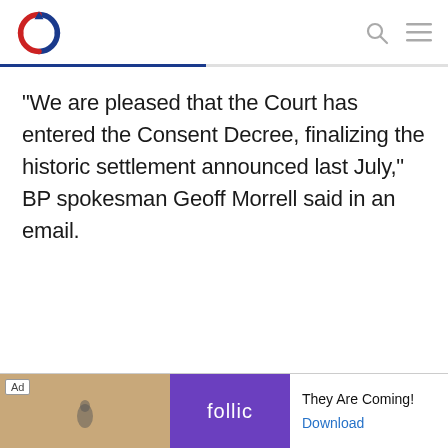Navigation header with logo, search and menu icons
"We are pleased that the Court has entered the Consent Decree, finalizing the historic settlement announced last July," BP spokesman Geoff Morrell said in an email.
[Figure (screenshot): Advertisement banner at bottom: 'Ad' label, image section with tan background and bird graphic, purple Follic logo, text 'They Are Coming!' and 'Download' link in blue]